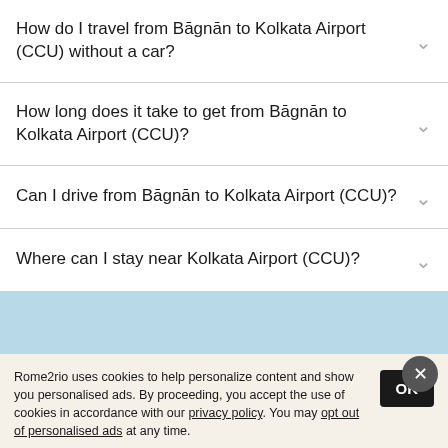How do I travel from Bāgnān to Kolkata Airport (CCU) without a car?
How long does it take to get from Bāgnān to Kolkata Airport (CCU)?
Can I drive from Bāgnān to Kolkata Airport (CCU)?
Where can I stay near Kolkata Airport (CCU)?
Rome2rio uses cookies to help personalize content and show you personalised ads. By proceeding, you accept the use of cookies in accordance with our privacy policy. You may opt out of personalised ads at any time.